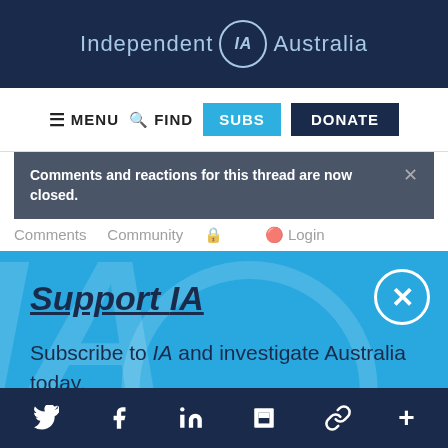Independent IA Australia
MENU  FIND  SUBS  DONATE
Comments and reactions for this thread are now closed.
Support IA
Subscribe to IA and investigate Australia today.
Close  Subscribe  Donate
Twitter  Facebook  LinkedIn  Flipboard  Share  Plus